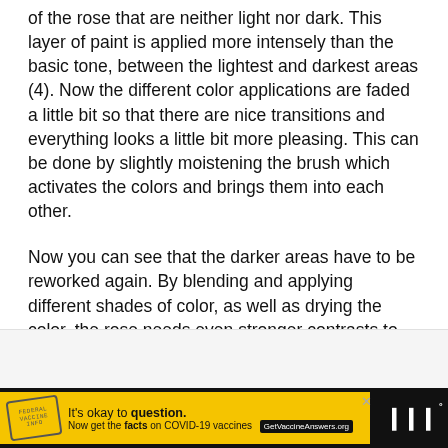of the rose that are neither light nor dark. This layer of paint is applied more intensely than the basic tone, between the lightest and darkest areas (4). Now the different color applications are faded a little bit so that there are nice transitions and everything looks a little bit more pleasing. This can be done by slightly moistening the brush which activates the colors and brings them into each other.
Now you can see that the darker areas have to be reworked again. By blending and applying different shades of color, as well as drying the color, the rose needs even stronger contrasts to give the rose more depth and expressiveness (5).
[Figure (infographic): Advertisement banner: yellow background with stamp graphic and text 'It's okay to question. Now get the facts on COVID-19 vaccines GetVaccineAnswers.org', on black bar with close button and logo]